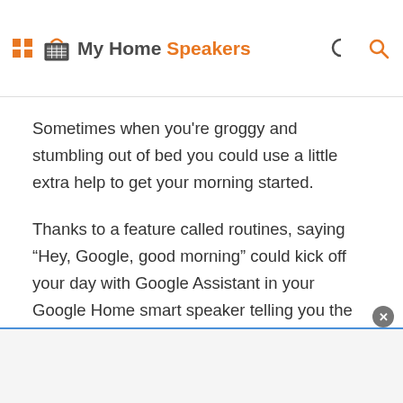My Home Speakers
Sometimes when you're groggy and stumbling out of bed you could use a little extra help to get your morning started.
Thanks to a feature called routines, saying “Hey, Google, good morning” could kick off your day with Google Assistant in your Google Home smart speaker telling you the time, forecasting the day's weather, reporting the news, and reminding you about your appointments all under one command. This gives you an extra boost while starting your day.